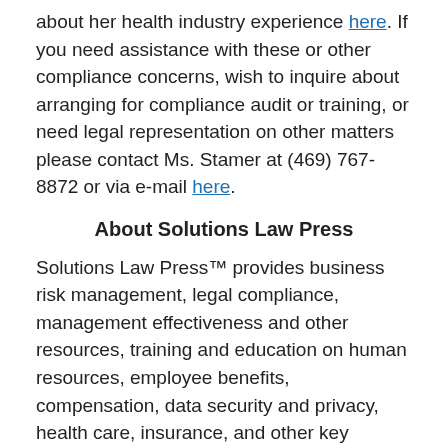about her health industry experience here. If you need assistance with these or other compliance concerns, wish to inquire about arranging for compliance audit or training, or need legal representation on other matters please contact Ms. Stamer at (469) 767-8872 or via e-mail here.
About Solutions Law Press
Solutions Law Press™ provides business risk management, legal compliance, management effectiveness and other resources, training and education on human resources, employee benefits, compensation, data security and privacy, health care, insurance, and other key compliance, risk management, internal controls and other key operational concerns. If you find this of interest, you also be interested reviewing some of our other Solutions Law Press resources including: